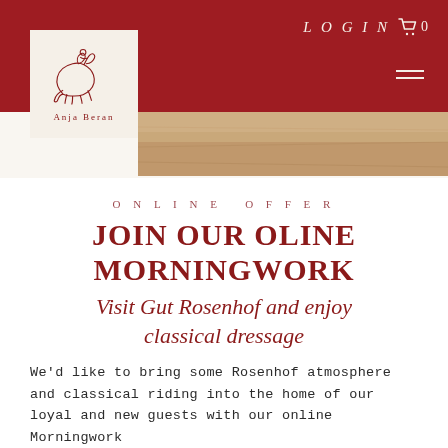Anja Beran — LOGIN 🛒 0
[Figure (logo): Anja Beran logo: line drawing of rider on horse, text ANJA BERAN below]
[Figure (photo): Sandy arena/ground photo strip]
ONLINE OFFER
JOIN OUR OLINE MORNINGWORK
Visit Gut Rosenhof and enjoy classical dressage
We'd like to bring some Rosenhof atmosphere and classical riding into the home of our loyal and new guests with our online Morningwork
» Click here for further information